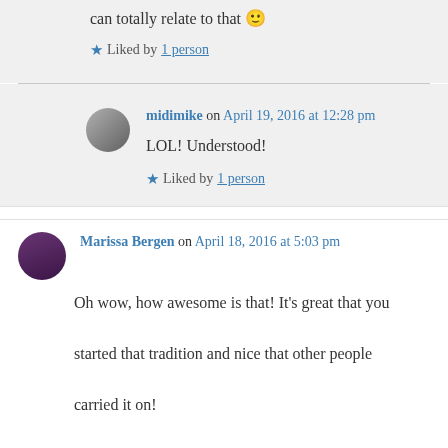can totally relate to that 🙂
Liked by 1 person
midimike on April 19, 2016 at 12:28 pm
LOL! Understood!
Liked by 1 person
Marissa Bergen on April 18, 2016 at 5:03 pm
Oh wow, how awesome is that! It's great that you started that tradition and nice that other people carried it on!